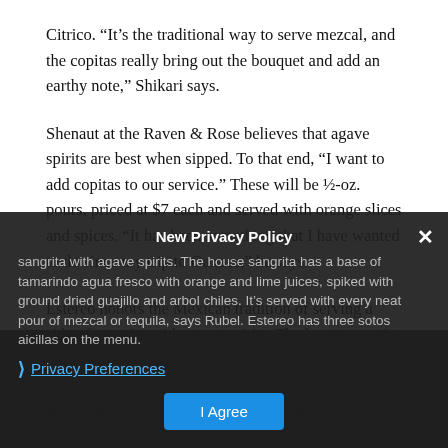Citrico. “It’s the traditional way to serve mezcal, and the copitas really bring out the bouquet and add an earthy note,” Shikari says.
Shenaut at the Raven & Rose believes that agave spirits are best when sipped. To that end, “I want to add copitas to our service.” These will be ½-oz. pours, priced at $7 each and served with orange slices and spices. “It has been something that I have wanted to do since my trip to Oaxaca,” he says.
Estereo honors the Mexican tradition of serving a side of sangrita with agave spirits. The house sangrita has a base of tamarindo agua fresca with orange and lime juices, spiked with ground dried guajillo and arbol chiles. It’s served with every neat pour of mezcal or tequila, says Rubel. Estereo has three sotos and raicillas on the menu.
New Privacy Policy
Privacy Preferences
I Agree